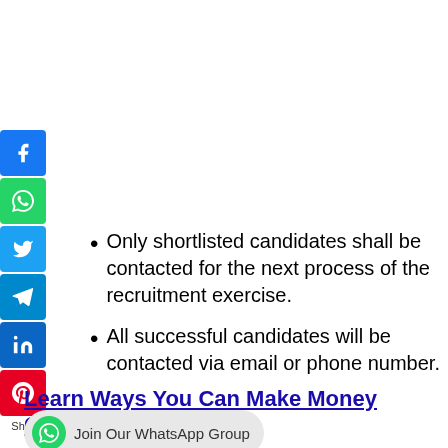[Figure (infographic): Social media share buttons: Facebook, WhatsApp, Twitter, Telegram, LinkedIn, Pinterest, with Share label below]
Only shortlisted candidates shall be contacted for the next process of the recruitment exercise.
All successful candidates will be contacted via email or phone number.
Learn Ways You Can Make Money Online in 2022
[Figure (infographic): WhatsApp group join button with text: Join Our WhatsApp Group]